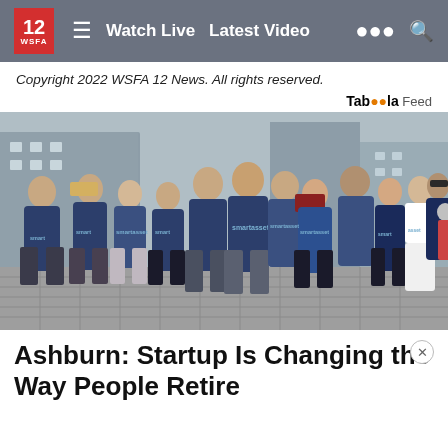12 WSFA  ☰  Watch Live  Latest Video  🔍
Copyright 2022 WSFA 12 News. All rights reserved.
Taboola Feed
[Figure (photo): Group photo of approximately 13 people wearing SmartAsset branded navy blue t-shirts, standing together on a cobblestone street in an urban setting with city buildings in the background.]
Ashburn: Startup Is Changing the Way People Retire